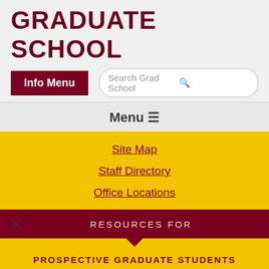GRADUATE SCHOOL
Info Menu
Search Grad School
Menu ≡
Site Map
Staff Directory
Office Locations
RESOURCES FOR
PROSPECTIVE GRADUATE STUDENTS
CURRENT GRADUATE STUDENTS
POSTDOCTORAL SCHOLARS
FACULTY & STAFF